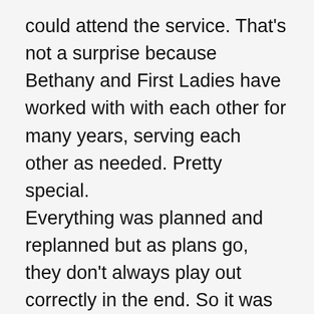could attend the service. That's not a surprise because Bethany and First Ladies have worked with with each other for many years, serving each other as needed. Pretty special.
Everything was planned and replanned but as plans go, they don't always play out correctly in the end. So it was for us. The one that went well was Rich's efforts to wirelessly stream the service to a projector in the basement. He worked on it for days trying to work out problems with the sound to go with the pristine picture. He solved it about 30 minutes prior to the service and it worked perfectly. The easy part, playing a photo DVD in the sanctuary, didn't work so well due to electrical issues. Actually, it was due to lack of